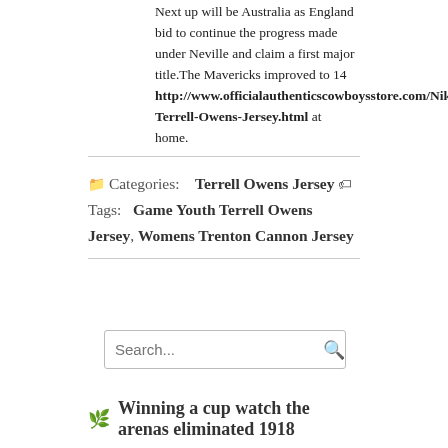Next up will be Australia as England bid to continue the progress made under Neville and claim a first major title.The Mavericks improved to 14 http://www.officialauthenticscowboysstore.com/Nike-Terrell-Owens-Jersey.html at home.
Categories: Terrell Owens Jersey Tags: Game Youth Terrell Owens Jersey, Womens Trenton Cannon Jersey
Search...
Winning a cup watch the arenas eliminated 1918